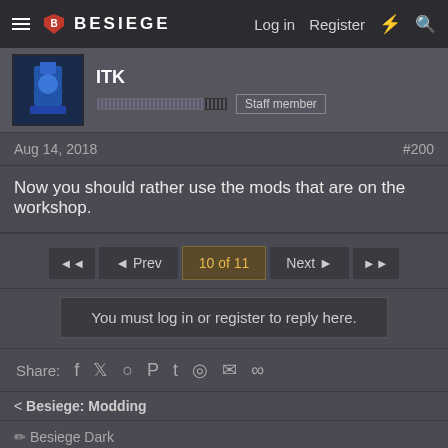BESIEGE  Log in  Register
ITK  Staff member
Aug 14, 2018  #200
Now you should rather use the mods that are on the workshop.
◄◄  ◄ Prev  10 of 11  Next ►  ►►
You must log in or register to reply here.
Share:  f  Twitter  Reddit  Pinterest  Tumblr  WhatsApp  Mail  Link
< Besiege: Modding
✏ Besiege Dark
Contact us  Terms and rules  Privacy policy  Help  Home  Forum software by XenForo™ © 2010-2018 XenForo Ltd.